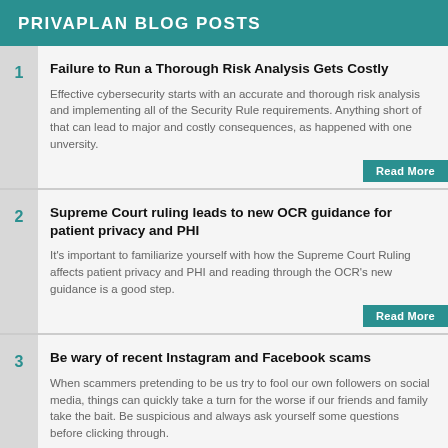PRIVAPLAN BLOG POSTS
1 | Failure to Run a Thorough Risk Analysis Gets Costly — Effective cybersecurity starts with an accurate and thorough risk analysis and implementing all of the Security Rule requirements. Anything short of that can lead to major and costly consequences, as happened with one unversity.
2 | Supreme Court ruling leads to new OCR guidance for patient privacy and PHI — It's important to familiarize yourself with how the Supreme Court Ruling affects patient privacy and PHI and reading through the OCR's new guidance is a good step.
3 | Be wary of recent Instagram and Facebook scams — When scammers pretending to be us try to fool our own followers on social media, things can quickly take a turn for the worse if our friends and family take the bait. Be suspicious and always ask yourself some questions before clicking through.